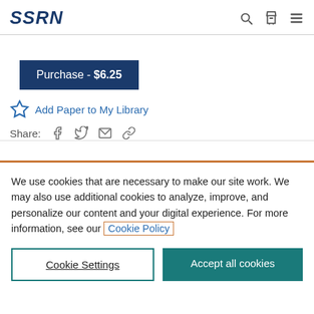SSRN
Purchase - $6.25
Add Paper to My Library
Share:
We use cookies that are necessary to make our site work. We may also use additional cookies to analyze, improve, and personalize our content and your digital experience. For more information, see our Cookie Policy
Cookie Settings
Accept all cookies